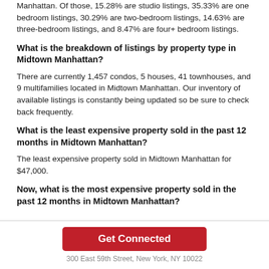Manhattan. Of those, 15.28% are studio listings, 35.33% are one bedroom listings, 30.29% are two-bedroom listings, 14.63% are three-bedroom listings, and 8.47% are four+ bedroom listings.
What is the breakdown of listings by property type in Midtown Manhattan?
There are currently 1,457 condos, 5 houses, 41 townhouses, and 9 multifamilies located in Midtown Manhattan. Our inventory of available listings is constantly being updated so be sure to check back frequently.
What is the least expensive property sold in the past 12 months in Midtown Manhattan?
The least expensive property sold in Midtown Manhattan for $47,000.
Now, what is the most expensive property sold in the past 12 months in Midtown Manhattan?
Get Connected
300 East 59th Street, New York, NY 10022